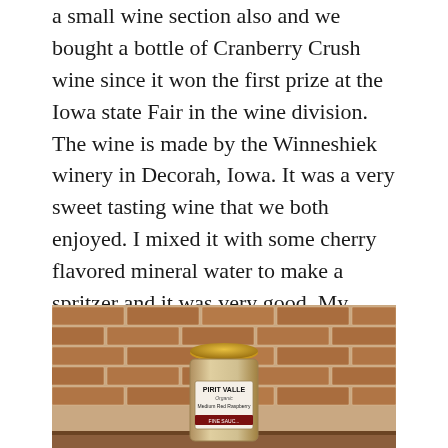a small wine section also and we bought a bottle of Cranberry Crush wine since it won the first prize at the Iowa state Fair in the wine division. The wine is made by the Winneshiek winery in Decorah, Iowa. It was a very sweet tasting wine that we both enjoyed. I mixed it with some cherry flavored mineral water to make a spritzer and it was very good. My husband snapped a picture of the old narrow lighted bridge below which is built over the Mississippi river in Lancing, Iowa.
[Figure (photo): A jar of Spirit Valley Organic Medium Red Raspberry product on a wooden surface against a brick wall background.]